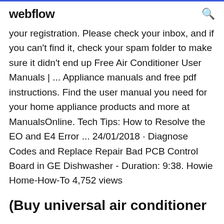webflow
your registration. Please check your inbox, and if you can't find it, check your spam folder to make sure it didn't end up Free Air Conditioner User Manuals | ... Appliance manuals and free pdf instructions. Find the user manual you need for your home appliance products and more at ManualsOnline. Tech Tips: How to Resolve the EO and E4 Error ... 24/01/2018 · Diagnose Codes and Replace Repair Bad PCB Control Board in GE Dishwasher - Duration: 9:38. Howie Home-How-To 4,752 views
(Buy universal air conditioner